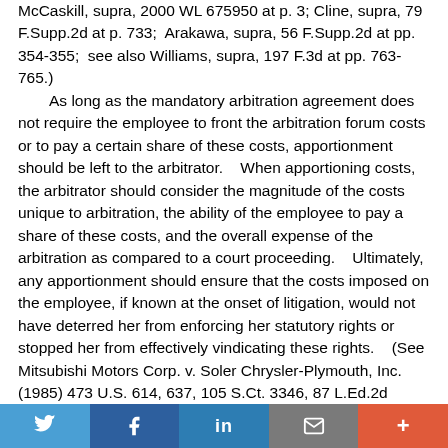McCaskill, supra, 2000 WL 675950 at p. 3; Cline, supra, 79 F.Supp.2d at p. 733; Arakawa, supra, 56 F.Supp.2d at pp. 354-355; see also Williams, supra, 197 F.3d at pp. 763-765.) As long as the mandatory arbitration agreement does not require the employee to front the arbitration forum costs or to pay a certain share of these costs, apportionment should be left to the arbitrator. When apportioning costs, the arbitrator should consider the magnitude of the costs unique to arbitration, the ability of the employee to pay a share of these costs, and the overall expense of the arbitration as compared to a court proceeding. Ultimately, any apportionment should ensure that the costs imposed on the employee, if known at the onset of litigation, would not have deterred her from enforcing her statutory rights or stopped her from effectively vindicating these rights. (See Mitsubishi Motors Corp. v. Soler Chrysler-Plymouth, Inc. (1985) 473 U.S. 614, 637, 105 S.Ct. 3346, 87 L.Ed.2d
Twitter | Facebook | LinkedIn | Email | More